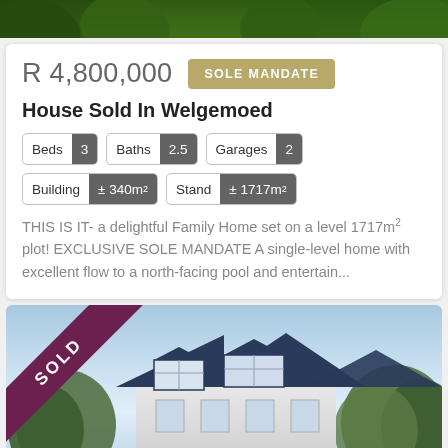[Figure (photo): Top portion of lush green foliage/trees background image]
R 4,800,000
SOLE MANDATE
House Sold In Welgemoed
Beds 3
Baths 2.5
Garages 2
Building ± 340m²
Stand ± 1717m²
THIS IS IT- a delightful Family Home set on a level 1717m² plot! EXCLUSIVE SOLE MANDATE A single-level home with excellent flow to a north-facing pool and entertain...
[Figure (photo): Exterior photo of a white house with dark roof and trees, with a SOLD diagonal ribbon banner in purple/maroon in the top-left corner]